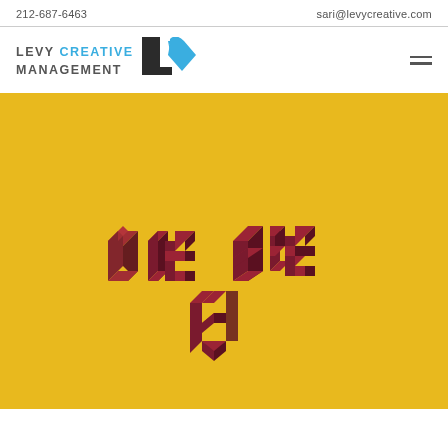212-687-6463    sari@levycreative.com
[Figure (logo): Levy Creative Management logo with stylized L and heart shape in blue and dark]
[Figure (illustration): Yellow background with 3D isometric block letters spelling 'MISHAPS' in dark red/maroon color, arranged across two lines]